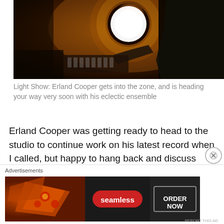[Figure (photo): A person in a dark suit playing a keyboard/synthesizer, lit dramatically by a large glowing white circular light against a warm amber/brown background.]
Light Show: Erland Cooper gets into the zone, and is heading your way very soon with his eclectic ensemble
Erland Cooper was getting ready to head to the studio to continue work on his latest record when I called, but happy to hang back and discuss another hectic year.
This talented singer/songwriter, multi-instrumentalist and
[Figure (photo): Seamless food delivery advertisement showing pizza slices on the left, Seamless logo in the center on a red rounded rectangle, and ORDER NOW text in a dark outlined box on the right.]
Advertisements